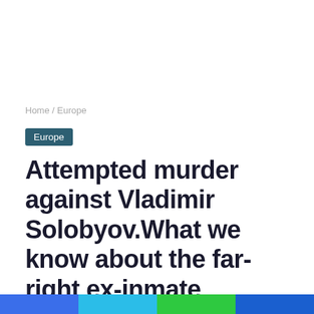Home / Europe
Europe
Attempted murder against Vladimir Solobyov.What we know about the far-right ex-inmate accused of attempting to kill Russia's